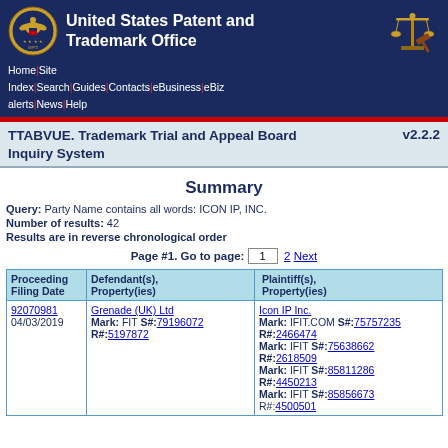United States Patent and Trademark Office — Home | Site Index | Search | Guides | Contacts | eBusiness | eBiz alerts | News | Help
TTABVUE. Trademark Trial and Appeal Board Inquiry System v2.2.2
Summary
Query: Party Name contains all words: ICON IP, INC.
Number of results: 42
Results are in reverse chronological order
Page #1. Go to page: 1  2 Next
| Proceeding Filing Date | Defendant(s), Property(ies) | Plaintiff(s), Property(ies) |
| --- | --- | --- |
| 92070981
04/03/2019 | Grenade (UK) Ltd
Mark: FIT S#:79196072
R#:5197872 | Icon IP Inc.
Mark: IFIT.COM S#:75757235
R#:2466474
Mark: IFIT S#:75638662
R#:2618509
Mark: IFIT S#:85811286
R#:4450213
Mark: IFIT S#:85856673
R#:4500501 |